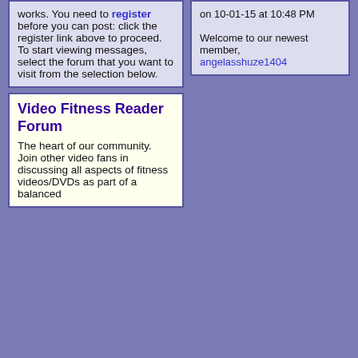works. You need to register before you can post: click the register link above to proceed. To start viewing messages, select the forum that you want to visit from the selection below.
on 10-01-15 at 10:48 PM

Welcome to our newest member, angelasshuze1404
Video Fitness Reader Forum
The heart of our community. Join other video fans in discussing all aspects of fitness videos/DVDs as part of a balanced